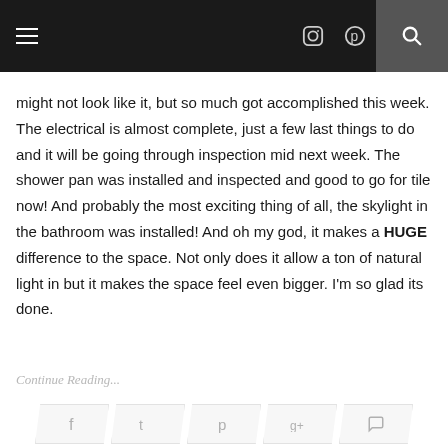Navigation bar with hamburger menu, Instagram, Pinterest, and search icons
might not look like it, but so much got accomplished this week. The electrical is almost complete, just a few last things to do and it will be going through inspection mid next week. The shower pan was installed and inspected and good to go for tile now! And probably the most exciting thing of all, the skylight in the bathroom was installed! And oh my god, it makes a HUGE difference to the space. Not only does it allow a ton of natural light in but it makes the space feel even bigger. I'm so glad its done.
Continue Reading...
[Figure (other): Social sharing buttons row: Facebook, Twitter, Pinterest, Google+, Comments]